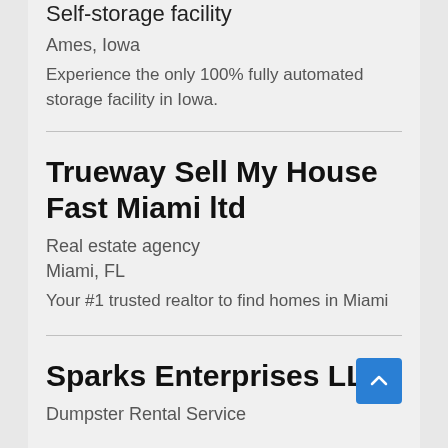Self-storage facility
Ames, Iowa
Experience the only 100% fully automated storage facility in Iowa.
Trueway Sell My House Fast Miami ltd
Real estate agency
Miami, FL
Your #1 trusted realtor to find homes in Miami
Sparks Enterprises LLC
Dumpster Rental Service